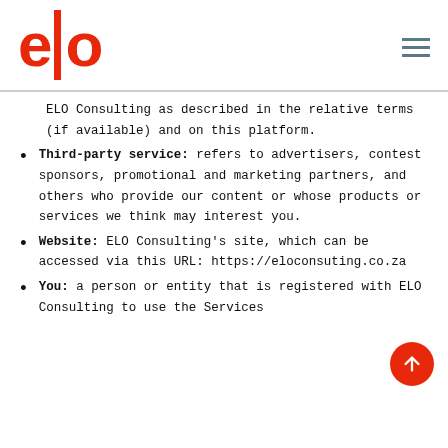elo
ELO Consulting as described in the relative terms (if available) and on this platform.
Third-party service: refers to advertisers, contest sponsors, promotional and marketing partners, and others who provide our content or whose products or services we think may interest you.
Website: ELO Consulting’s site, which can be accessed via this URL: https://eloconsuting.co.za
You: a person or entity that is registered with ELO Consulting to use the Services